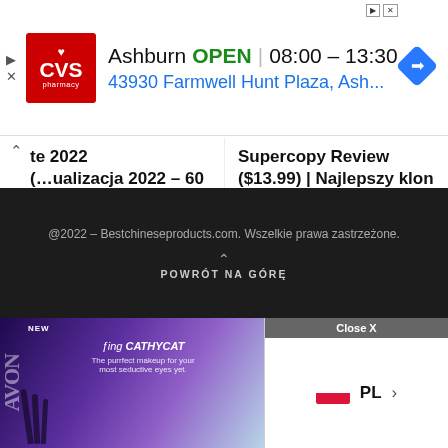[Figure (screenshot): CVS Pharmacy ad banner showing Ashburn location OPEN 08:00–13:30, address 43930 Farmwell Hunt Plaza, Ash..., with navigation diamond icon. Ad has close (X) and play controls.]
te 2022
(...ualizacja 2022 - 60 sprzedawców)
Supercopy Review ($13.99) | Najlepszy klon Airpods Pro online!
@2022 – Bestchineseproducts.com. Wszelkie prawa zastrzeżone.
POWRÓT NA GÓRĘ
[Figure (screenshot): Bottom ad bar: Avon/Sing CathyCat purple gradient ad on left, and language selector showing PL (Poland flag) with close X button on right.]